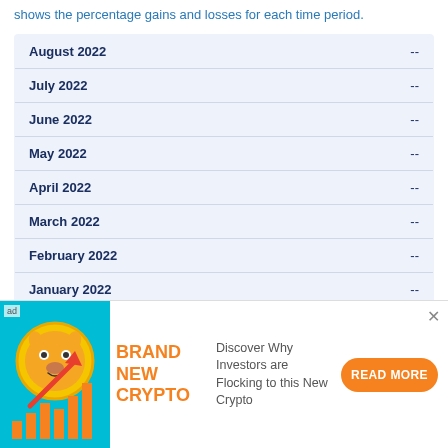shows the percentage gains and losses for each time period.
| Month | Value |
| --- | --- |
| August 2022 | -- |
| July 2022 | -- |
| June 2022 | -- |
| May 2022 | -- |
| April 2022 | -- |
| March 2022 | -- |
| February 2022 | -- |
| January 2022 | -- |
| December 2021 | -- |
| November 2021 | -- |
[Figure (illustration): Advertisement banner for a new cryptocurrency featuring a Shiba Inu dog coin with upward arrow and bar chart on cyan background. Text reads BRAND NEW CRYPTO. Description: Discover Why Investors are Flocking to this New Crypto. Button: READ MORE.]